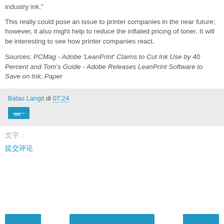industry ink."
This really could pose an issue to printer companies in the near future; however, it also might help to reduce the inflated pricing of toner. It will be interesting to see how printer companies react.
Sources: PCMag - Adobe 'LeanPrint' Claims to Cut Ink Use by 40 Percent and Tom's Guide - Adobe Releases LeanPrint Software to Save on Ink, Paper
Batas Langit di 07:24
分享
说明:
发评者